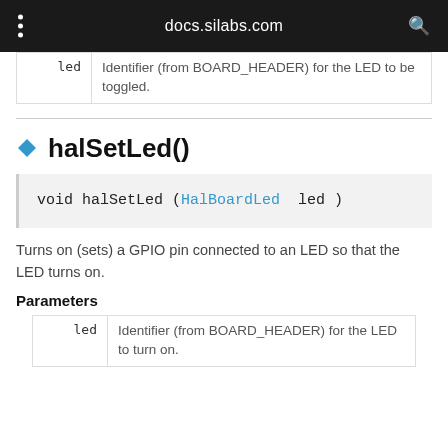docs.silabs.com
| Parameter | Description |
| --- | --- |
| led | Identifier (from BOARD_HEADER) for the LED to be toggled. |
halSetLed()
void halSetLed (HalBoardLed  led )
Turns on (sets) a GPIO pin connected to an LED so that the LED turns on.
Parameters
| Parameter | Description |
| --- | --- |
| led | Identifier (from BOARD_HEADER) for the LED to turn on. |